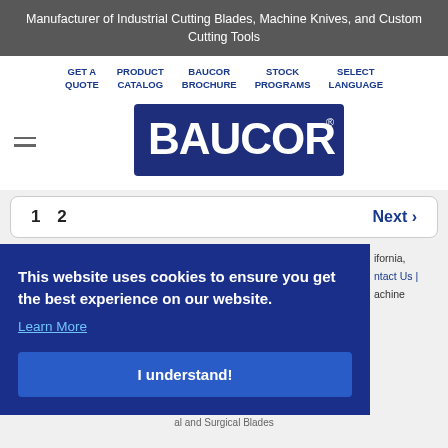Manufacturer of Industrial Cutting Blades, Machine Knives, and Custom Cutting Tools
GET A QUOTE   PRODUCT CATALOG   BAUCOR BROCHURE   STOCK PROGRAMS   SELECT LANGUAGE
[Figure (logo): BAUCOR logo — white text on dark blue rectangular background with stylized lettering]
1 2   Next >
This website uses cookies to ensure you get the best experience on our website. Learn More
I understand!
ifornia,
ntact Us |
achine
al and Surgical Blades